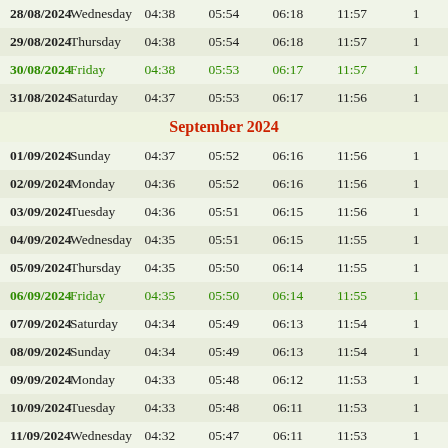| Date | Day | Col1 | Col2 | Col3 | Col4 | Col5 |
| --- | --- | --- | --- | --- | --- | --- |
| 28/08/2024 | Wednesday | 04:38 | 05:54 | 06:18 | 11:57 | 1 |
| 29/08/2024 | Thursday | 04:38 | 05:54 | 06:18 | 11:57 | 1 |
| 30/08/2024 | Friday | 04:38 | 05:53 | 06:17 | 11:57 | 1 |
| 31/08/2024 | Saturday | 04:37 | 05:53 | 06:17 | 11:56 | 1 |
|  |  |  |  | September 2024 |  |  |
| 01/09/2024 | Sunday | 04:37 | 05:52 | 06:16 | 11:56 | 1 |
| 02/09/2024 | Monday | 04:36 | 05:52 | 06:16 | 11:56 | 1 |
| 03/09/2024 | Tuesday | 04:36 | 05:51 | 06:15 | 11:56 | 1 |
| 04/09/2024 | Wednesday | 04:35 | 05:51 | 06:15 | 11:55 | 1 |
| 05/09/2024 | Thursday | 04:35 | 05:50 | 06:14 | 11:55 | 1 |
| 06/09/2024 | Friday | 04:35 | 05:50 | 06:14 | 11:55 | 1 |
| 07/09/2024 | Saturday | 04:34 | 05:49 | 06:13 | 11:54 | 1 |
| 08/09/2024 | Sunday | 04:34 | 05:49 | 06:13 | 11:54 | 1 |
| 09/09/2024 | Monday | 04:33 | 05:48 | 06:12 | 11:53 | 1 |
| 10/09/2024 | Tuesday | 04:33 | 05:48 | 06:11 | 11:53 | 1 |
| 11/09/2024 | Wednesday | 04:32 | 05:47 | 06:11 | 11:53 | 1 |
| 12/09/2024 | Thursday | 04:32 | 05:47 | 06:10 | 11:52 | 1 |